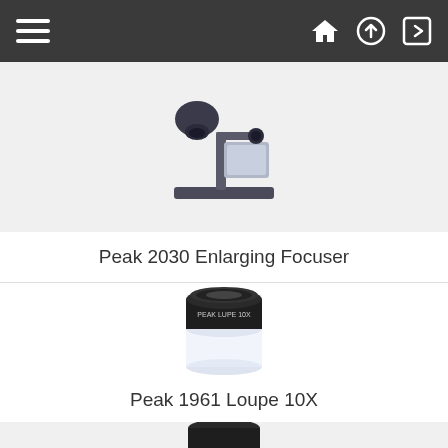Navigation bar with hamburger menu and home/upload/login icons
[Figure (photo): Peak 2030 Enlarging Focuser — a darkroom enlarging focuser on a stand with a lens assembly]
Peak 2030 Enlarging Focuser
[Figure (photo): Peak 1961 Loupe 10X — a cylindrical loupe magnifier with black metal body and clear base]
Peak 1961 Loupe 10X
[Figure (photo): Partially visible loupe magnifier at bottom of page]